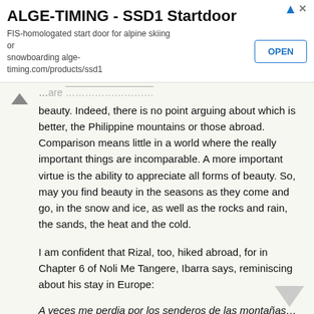[Figure (screenshot): Advertisement banner for ALGE-TIMING SSD1 Startdoor with OPEN button]
…beauty. Indeed, there is no point arguing about which is better, the Philippine mountains or those abroad. Comparison means little in a world where the really important things are incomparable. A more important virtue is the ability to appreciate all forms of beauty. So, may you find beauty in the seasons as they come and go, in the snow and ice, as well as the rocks and rain, the sands, the heat and the cold.
I am confident that Rizal, too, hiked abroad, for in Chapter 6 of Noli Me Tangere, Ibarra says, reminiscing about his stay in Europe:
A veces me perdia por los senderos de las montañas… (Sometimes when I wander in the trails of the